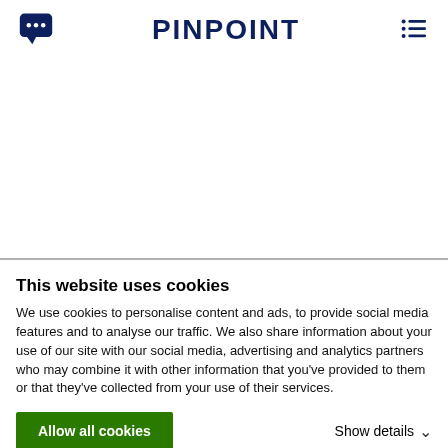PINPOINT
This website uses cookies
We use cookies to personalise content and ads, to provide social media features and to analyse our traffic. We also share information about your use of our site with our social media, advertising and analytics partners who may combine it with other information that you've provided to them or that they've collected from your use of their services.
Allow all cookies
Show details